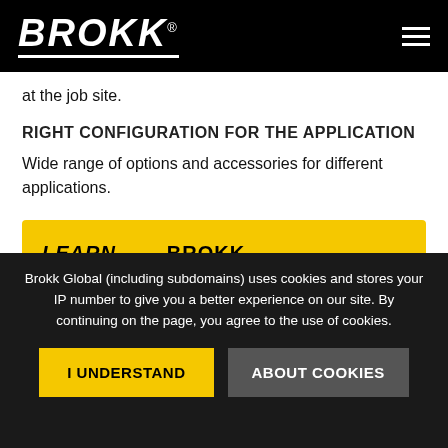BROKK
at the job site.
RIGHT CONFIGURATION FOR THE APPLICATION
Wide range of options and accessories for different applications.
LEARN MORE BROKK SMARTCONCEPT
Brokk Global (including subdomains) uses cookies and stores your IP number to give you a better experience on our site. By continuing on the page, you agree to the use of cookies.
I UNDERSTAND
ABOUT COOKIES